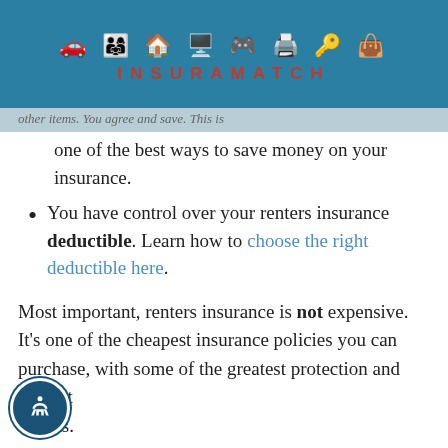INSURAMATCH
other items. You agree and save. This is one of the best ways to save money on your insurance.
You have control over your renters insurance deductible. Learn how to choose the right deductible here.
Most important, renters insurance is not expensive. It's one of the cheapest insurance policies you can purchase, with some of the greatest protection and highest benefits.